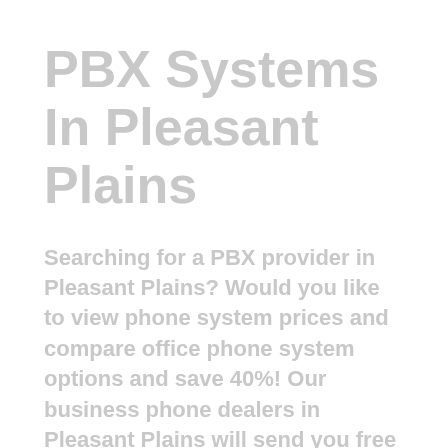PBX Systems In Pleasant Plains
Searching for a PBX provider in Pleasant Plains? Would you like to view phone system prices and compare office phone system options and save 40%! Our business phone dealers in Pleasant Plains will send you free phone system information which can help you decide which is the best business phone system for you! We have new low prices! Submit a quick price request to see PBX prices today! Searching for Panasonic, Toshiba, Polycom, Cisco, or Yealink, NEC, or AT&T office phone system price? Our business VoIP